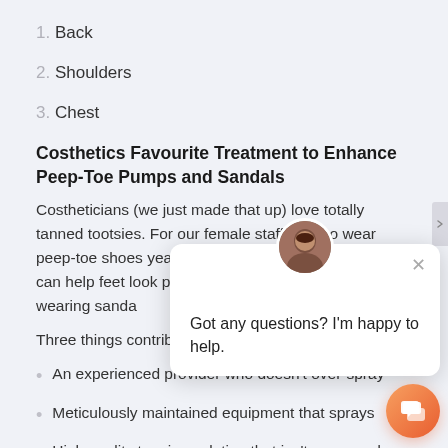1. Back
2. Shoulders
3. Chest
Costhetics Favourite Treatment to Enhance Peep-Toe Pumps and Sandals
Costheticians (we just made that up) love totally tanned tootsies. For our female staffers who wear peep-toe shoes year round, professional spray tans can help feet look pretty. The same is generally wearing sanda
Three things contribute
An experienced provider who doesn't over-spray
Meticulously maintained equipment that sprays
High quality tanning solution that isn't runny and